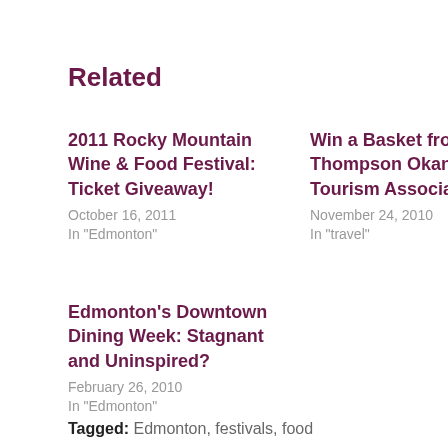Related
2011 Rocky Mountain Wine & Food Festival: Ticket Giveaway!
October 16, 2011
In "Edmonton"
Win a Basket from the Thompson Okanagan Tourism Association!
November 24, 2010
In "travel"
Edmonton’s Downtown Dining Week: Stagnant and Uninspired?
February 26, 2010
In "Edmonton"
Tagged: Edmonton, festivals, food